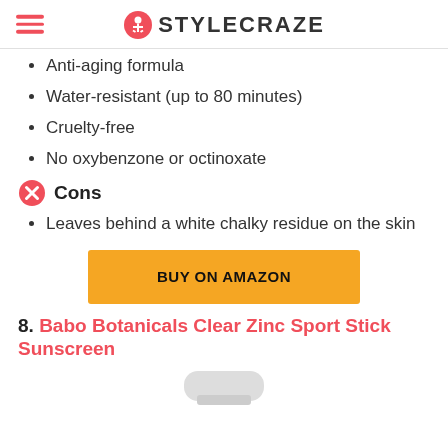STYLECRAZE
Anti-aging formula
Water-resistant (up to 80 minutes)
Cruelty-free
No oxybenzone or octinoxate
Cons
Leaves behind a white chalky residue on the skin
[Figure (other): BUY ON AMAZON button (orange/yellow background)]
8. Babo Botanicals Clear Zinc Sport Stick Sunscreen
[Figure (photo): Partial product image at bottom of page]